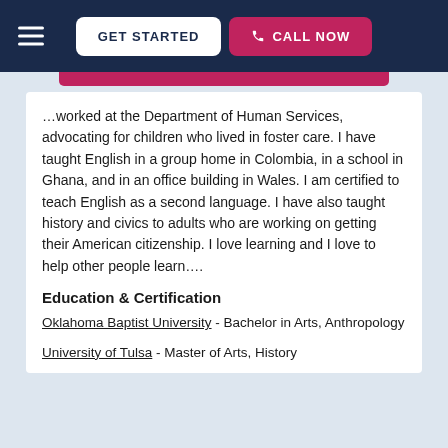GET STARTED | CALL NOW
...worked at the Department of Human Services, advocating for children who lived in foster care. I have taught English in a group home in Colombia, in a school in Ghana, and in an office building in Wales. I am certified to teach English as a second language. I have also taught history and civics to adults who are working on getting their American citizenship. I love learning and I love to help other people learn....
Education & Certification
Oklahoma Baptist University - Bachelor in Arts, Anthropology
University of Tulsa - Master of Arts, History